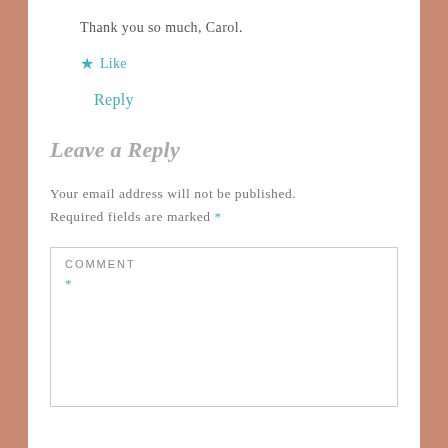Thank you so much, Carol.
★ Like
Reply
Leave a Reply
Your email address will not be published. Required fields are marked *
COMMENT *